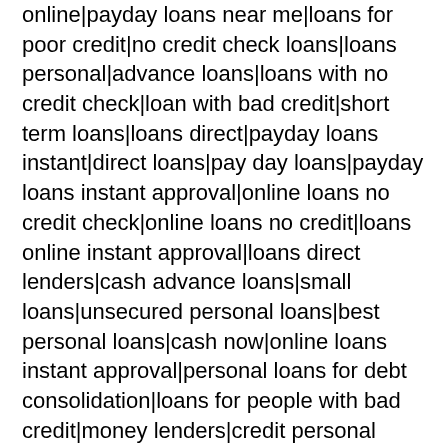online|payday loans near me|loans for poor credit|no credit check loans|loans personal|advance loans|loans with no credit check|loan with bad credit|short term loans|loans direct|payday loans instant|direct loans|pay day loans|payday loans instant approval|online loans no credit check|online loans no credit|loans online instant approval|loans direct lenders|cash advance loans|small loans|unsecured personal loans|best personal loans|cash now|online loans instant approval|personal loans for debt consolidation|loans for people with bad credit|money lenders|credit personal loans|payday loans direct|payday